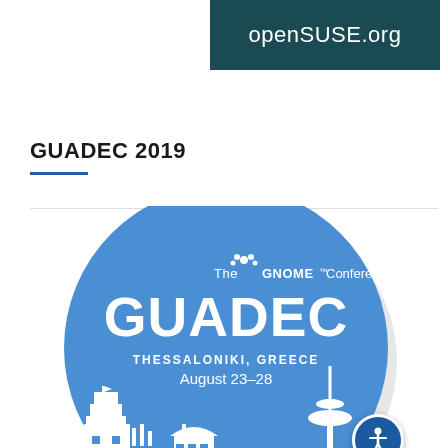openSUSE.org
GUADEC 2019
[Figure (logo): GUADEC 2019 circular badge/logo showing The GNOME Conference GUADEC, Thessaloniki, Greece, August 23–28, with white silhouette cityscape at the bottom on a blue background]